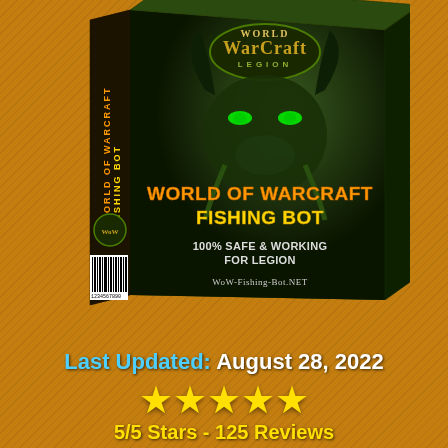[Figure (illustration): A World of Warcraft: Legion game box with the game logo on top, a dark fantasy demon face on the front. Front panel text reads: WORLD OF WARCRAFT FISHING BOT (in orange/yellow), 100% SAFE & WORKING FOR LEGION (in white), WoW-Fishing-Bot.NET. The box spine reads WORLD OF WARCRAFT FISHING BOT vertically. A barcode is visible on the lower left of the box.]
Last Updated: August 28, 2022
[Figure (illustration): Five gold/yellow star rating icons]
5/5 Stars - 125 Reviews